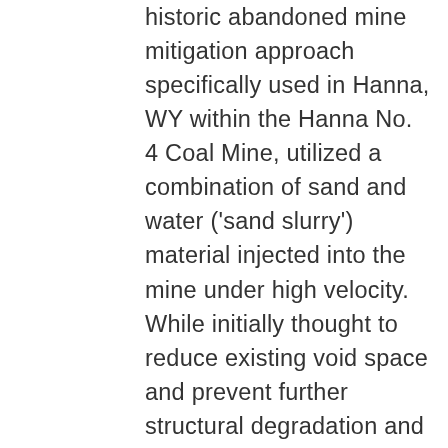historic abandoned mine mitigation approach specifically used in Hanna, WY within the Hanna No. 4 Coal Mine, utilized a combination of sand and water ('sand slurry') material injected into the mine under high velocity. While initially thought to reduce existing void space and prevent further structural degradation and eventual mine subsidence, the slurry injected introduced further mine destabilization concerns through erosion and material migration processes within the mine over time due to groundwater movement within the mine. This presentation will discuss existing geologic conditions, historic mitigation techniques, current mitigation challenges in pre-existing conditions, and a long-term stabilization solutions to prevent continued